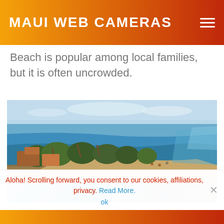Maui Web Cameras
Beach is popular among local families, but it is often uncrowded.
[Figure (photo): Aerial drone photo of a Hawaiian beach coastline with palm trees, tropical vegetation, buildings, sandy beach, and turquoise ocean water. Small thumbnail strip of two additional beach photos below.]
Aloha! Scrolling forward, you consent to our cookies, affiliations, privacy. Read More.
ok